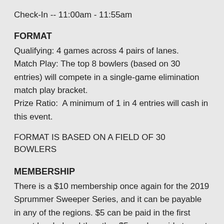Check-In -- 11:00am - 11:55am
FORMAT
Qualifying: 4 games across 4 pairs of lanes.
Match Play: The top 8 bowlers (based on 30 entries) will compete in a single-game elimination match play bracket.
Prize Ratio:  A minimum of 1 in 4 entries will cash in this event.
FORMAT IS BASED ON A FIELD OF 30 BOWLERS
MEMBERSHIP
There is a $10 membership once again for the 2019 Sprummer Sweeper Series, and it can be payable in any of the regions. $5 can be paid in the first event bowled and the other $5 can be paid at event #2 bowled.  If you pay the $10 at or before the kickoff event in this region, you will also receive $10 worth of raffle tickets, as we will be raffling off a bowling ball and perhaps other prizes as well.